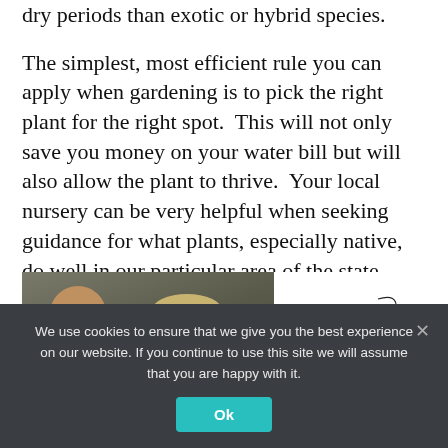dry periods than exotic or hybrid species.
The simplest, most efficient rule you can apply when gardening is to pick the right plant for the right spot.  This will not only save you money on your water bill but will also allow the plant to thrive.  Your local nursery can be very helpful when seeking guidance for what plants, especially native, do well in our particular area of the state.
[Figure (photo): A man and a woman posing together for a professional portrait photo, alongside a logo for 'Photographic Elegance']
We use cookies to ensure that we give you the best experience on our website. If you continue to use this site we will assume that you are happy with it.